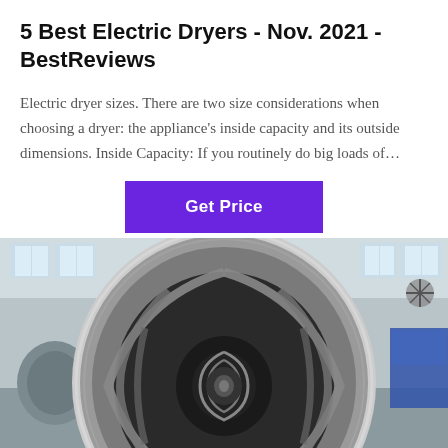5 Best Electric Dryers - Nov. 2021 - BestReviews
Electric dryer sizes. There are two size considerations when choosing a dryer: the appliance's inside capacity and its outside dimensions. Inside Capacity: If you routinely do big loads of…
[Figure (other): Button labeled 'Get Price' with purple/violet background and white bold text, centered on the page.]
[Figure (photo): Industrial rotary dryer drum photographed from the front opening, showing internal spiral fins/flights inside a large cylindrical metal drum in a factory/warehouse setting.]